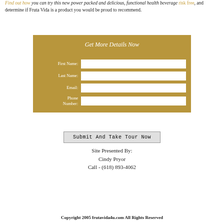Find out how you can try this new power packed and delicious, functional health beverage risk free, and determine if Fruta Vida is a product you would be proud to recommend.
[Figure (other): A gold/tan colored contact form box titled 'Get More Details Now' with fields for First Name, Last Name, Email, and Phone Number]
Submit And Take Tour Now
Site Presented By:
Cindy Pryor
Call - (618) 893-4062
Copyright 2005 frutavida4u.com All Rights Reserved